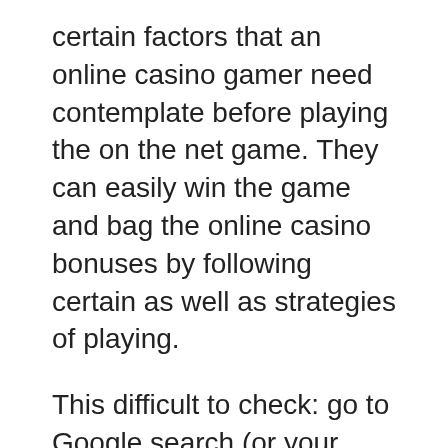certain factors that an online casino gamer need contemplate before playing the on the net game. They can easily win the game and bag the online casino bonuses by following certain as well as strategies of playing.
This difficult to check: go to Google search (or your favorite search engine for that matter) and kind the name of the lottery site you for you to check and add this: +review onto your query chain. The results will more likely numerous. If too many negative reviews come out, or no results at all, aim for another online lottery service provider.
It is a breeze to find examples impeccable premier pools at places you actually work, at bars, schools and colleges as well as at